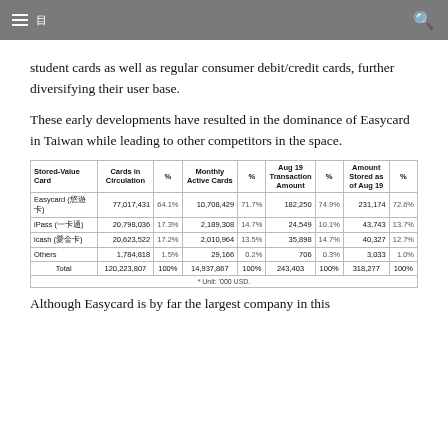≡ 目 🔍
student cards as well as regular consumer debit/credit cards, further diversifying their user base.
These early developments have resulted in the dominance of Easycard in Taiwan while leading to other competitors in the space.
| Stored-Value Card | Cards in Circulation | % | Monthly Active Cards | % | Aug 19 Transaction Amount | % | Amount Stored as of Aug 19 | % |
| --- | --- | --- | --- | --- | --- | --- | --- | --- |
| Easycard (悠遊卡) | 77,017,431 | 64.1% | 10,708,429 | 71.7% | 182,250 | 74.9% | 231,174 | 72.6% |
| iPass (一卡通) | 20,798,036 | 17.3% | 2,189,308 | 14.7% | 24,549 | 10.1% | 43,743 | 13.7% |
| icash (愛金卡) | 20,623,522 | 17.2% | 2,010,964 | 13.5% | 35,898 | 14.7% | 40,327 | 12.7% |
| Others | 1,784,818 | 1.5% | 29,166 | 0.2% | 706 | 0.3% | 3,033 | 1.0% |
| Total | 120,223,807 | 100% | 14,937,867 | 100% | 243,403 | 100% | 318,277 | 100% |
* Unit: '000 USD.
Although Easycard is by far the largest company in this